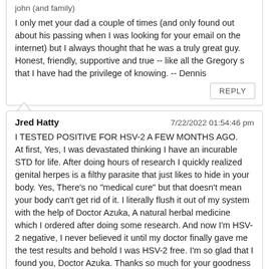john (and family)
I only met your dad a couple of times (and only found out about his passing when I was looking for your email on the internet) but I always thought that he was a truly great guy. Honest, friendly, supportive and true -- like all the Gregory s that I have had the privilege of knowing. -- Dennis
REPLY
Jred Hatty
7/22/2022 01:54:46 pm
I TESTED POSITIVE FOR HSV-2 A FEW MONTHS AGO.
At first, Yes, I was devastated thinking I have an incurable STD for life. After doing hours of research I quickly realized genital herpes is a filthy parasite that just likes to hide in your body. Yes, There's no "medical cure" but that doesn't mean your body can't get rid of it. I literally flush it out of my system with the help of Doctor Azuka, A natural herbal medicine which I ordered after doing some research. And now I'm HSV-2 negative, I never believed it until my doctor finally gave me the test results and behold I was HSV-2 free. I'm so glad that I found you, Doctor Azuka. Thanks so much for your goodness I'm grateful. You can also get your help from him through his Email } dr.azukasolutionhome@gmail.com